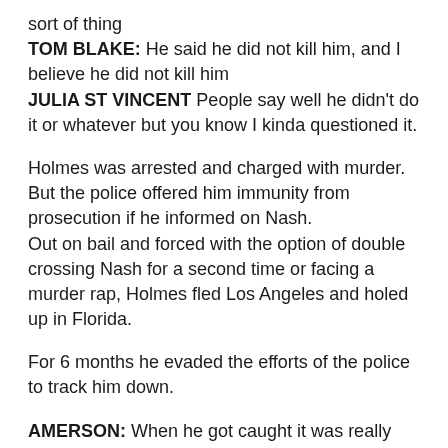sort of thing
TOM BLAKE: He said he did not kill him, and I believe he did not kill him
JULIA ST VINCENT People say well he didn't do it or whatever but you know I kinda questioned it.
Holmes was arrested and charged with murder. But the police offered him immunity from prosecution if he informed on Nash.
Out on bail and forced with the option of double crossing Nash for a second time or facing a murder rap, Holmes fled Los Angeles and holed up in Florida.
For 6 months he evaded the efforts of the police to track him down.
AMERSON: When he got caught it was really comical. You know how he got caught? John went to Florida and